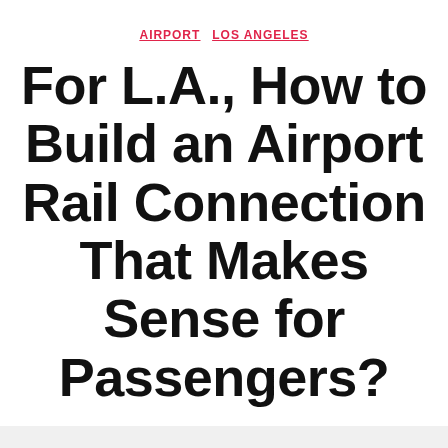AIRPORT   LOS ANGELES
For L.A., How to Build an Airport Rail Connection That Makes Sense for Passengers?
By Yonah Freemark   9 March 2012   62 Comments